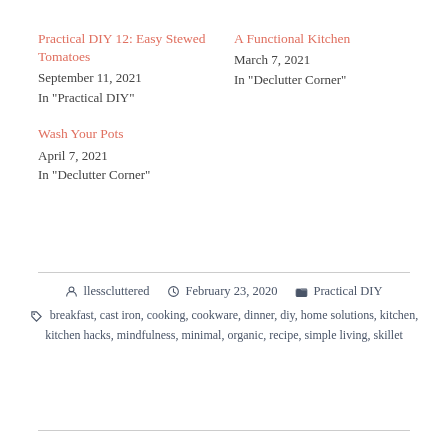Practical DIY 12: Easy Stewed Tomatoes
September 11, 2021
In "Practical DIY"
A Functional Kitchen
March 7, 2021
In "Declutter Corner"
Wash Your Pots
April 7, 2021
In "Declutter Corner"
llesscluttered  February 23, 2020  Practical DIY  breakfast, cast iron, cooking, cookware, dinner, diy, home solutions, kitchen, kitchen hacks, mindfulness, minimal, organic, recipe, simple living, skillet